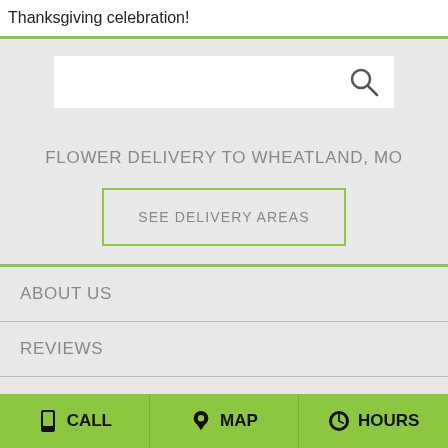Thanksgiving celebration!
[Figure (screenshot): Search input box with magnifying glass icon]
FLOWER DELIVERY TO WHEATLAND, MO
SEE DELIVERY AREAS
ABOUT US
REVIEWS
SPECIAL OFFERS
CONTACT US
CALL   MAP   HOURS